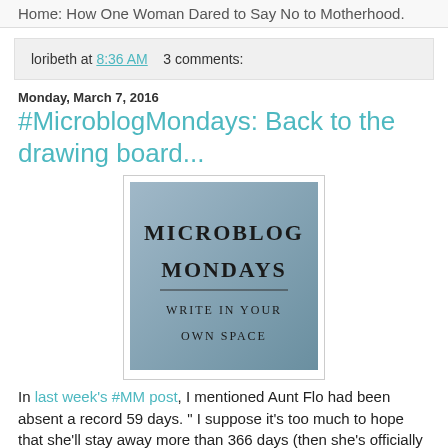Home: How One Woman Dared to Say No to Motherhood.
loribeth at 8:36 AM    3 comments:
Monday, March 7, 2016
#MicroblogMondays: Back to the drawing board...
[Figure (illustration): Microblog Mondays logo — square image with gradient background reading 'Microblog Mondays / write in your own space']
In last week's #MM post, I mentioned Aunt Flo had been absent a record 59 days. " I suppose it's too much to hope that she'll stay away more than 366 days (then she's officially...